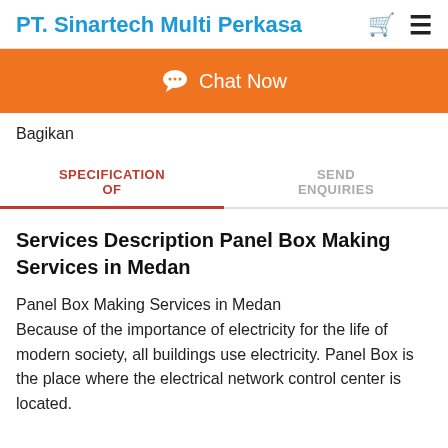PT. Sinartech Multi Perkasa
Chat Now
Bagikan
SPECIFICATION OF
SEND ENQUIRIES
Services Description Panel Box Making Services in Medan
Panel Box Making Services in Medan Because of the importance of electricity for the life of modern society, all buildings use electricity. Panel Box is the place where the electrical network control center is located.